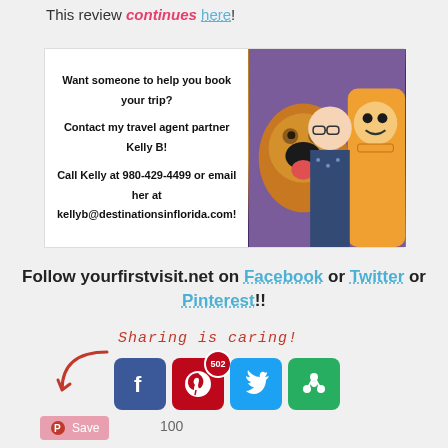This review continues here!
[Figure (photo): Advertisement box with text about Kelly B travel agent and photo of woman with Disney characters Dug and Russell]
Want someone to help you book your trip? Contact my travel agent partner Kelly B! Call Kelly at 980-429-4499 or email her at kellyb@destinationsinflorida.com!
Follow yourfirstvisit.net on Facebook or Twitter or Pinterest!!
Sharing is caring!
[Figure (illustration): Red curved arrow pointing down-right]
[Figure (infographic): Social sharing buttons: Facebook, Pinterest (502 shares badge), Twitter, and a green share button]
Save
100